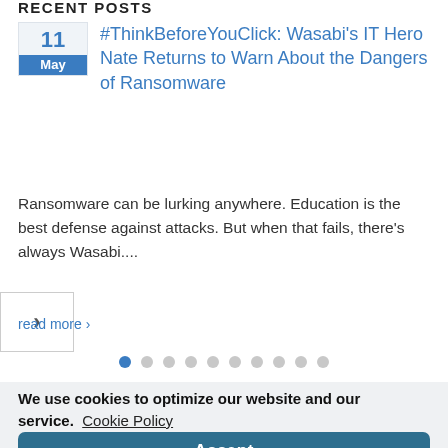RECENT POSTS
#ThinkBeforeYouClick: Wasabi's IT Hero Nate Returns to Warn About the Dangers of Ransomware
Ransomware can be lurking anywhere. Education is the best defense against attacks. But when that fails, there's always Wasabi....
read more >
[Figure (other): Pagination dots row: 10 dots, first one active (blue), rest grey]
We use cookies to optimize our website and our service.  Cookie Policy
Accept